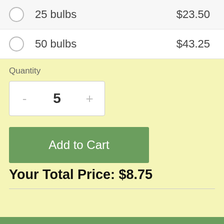|  | Quantity | Price |
| --- | --- | --- |
| ○ | 25 bulbs | $23.50 |
| ○ | 50 bulbs | $43.25 |
Quantity
- 5 +
Add to Cart
Your Total Price: $8.75